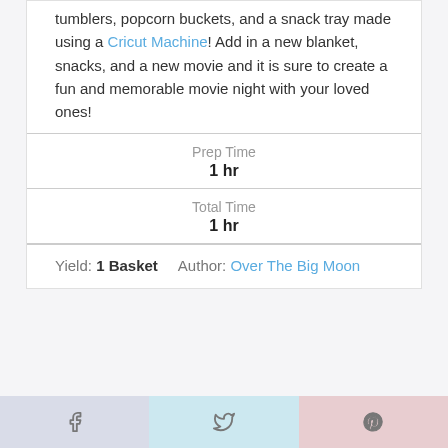tumblers, popcorn buckets, and a snack tray made using a Cricut Machine! Add in a new blanket, snacks, and a new movie and it is sure to create a fun and memorable movie night with your loved ones!
| Label | Value |
| --- | --- |
| Prep Time | 1 hr |
| Total Time | 1 hr |
Yield: 1 Basket   Author: Over The Big Moon
[Figure (other): Social share buttons: Facebook, Twitter, Pinterest]